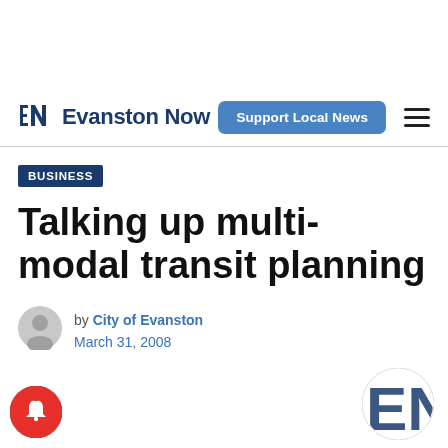Evanston Now — Support Local News
BUSINESS
Talking up multi-modal transit planning
by City of Evanston
March 31, 2008